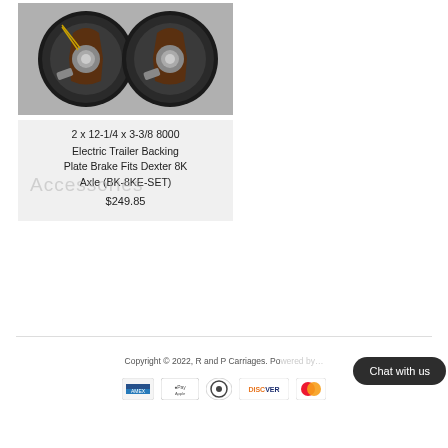[Figure (photo): Two electric trailer brake backing plate assemblies photographed against a white background, showing internal brake components including springs and hardware.]
2 x 12-1/4 x 3-3/8 8000 Electric Trailer Backing Plate Brake Fits Dexter 8K Axle (BK-8KE-SET)
$249.85
Copyright © 2022, R and P Carriages. Po...
[Figure (logo): Payment method icons: American Express, Apple Pay, Diners Club, Discover, Mastercard]
Chat with us